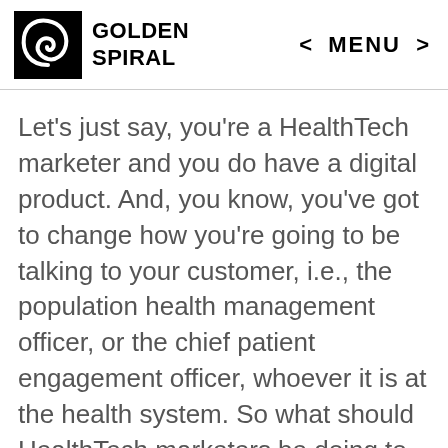GOLDEN SPIRAL  < MENU >
Let's just say, you're a HealthTech marketer and you do have a digital product. And, you know, you've got to change how you're going to be talking to your customer, i.e., the population health management officer, or the chief patient engagement officer, whoever it is at the health system. So what should HealthTech marketers be doing to sort of reflect that empathetic understanding of, Hey, we know things are migrating to tele medicine, and we know there are certain things that we can, but th their product may or may not be able to surface up physical manifestation to drive the point home. But let's just say they, you